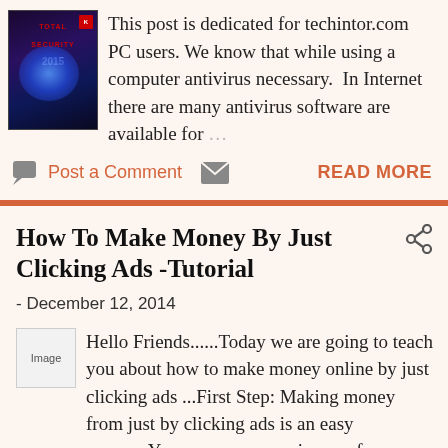[Figure (photo): Book cover for Total Security 2015 antivirus software with blue cosmic/galaxy background]
This post is dedicated for techintor.com PC users. We know that while using a computer antivirus necessary. In Internet there are many antivirus software are available for ...
Post a Comment   READ MORE
How To Make Money By Just Clicking Ads -Tutorial
- December 12, 2014
[Figure (photo): Broken/missing image placeholder]
Hello Friends......Today we are going to teach you about how to make money online by just clicking ads ...First Step: Making money from just by clicking ads is an easy process.You can earn a maximum of 2000$/month like this.There are ...